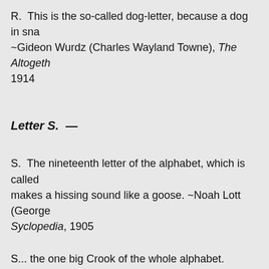R.  This is the so-called dog-letter, because a dog in sna~Gideon Wurdz (Charles Wayland Towne), The Altogether New Foolish Dictionary, 1914
Letter S. —
S.  The nineteenth letter of the alphabet, which is called makes a hissing sound like a goose. ~Noah Lott (George Syclopedia, 1905
S... the one big Crook of the whole alphabet. ~Gideon Wurdz (Charles Wayland Towne), The Altogether New Foolish Dictionary, 1914
Letter T. —
T.  The twentieth letter of the alphabet, so called because always drank coffee. ~Noah Lott (George V. Hobart), The